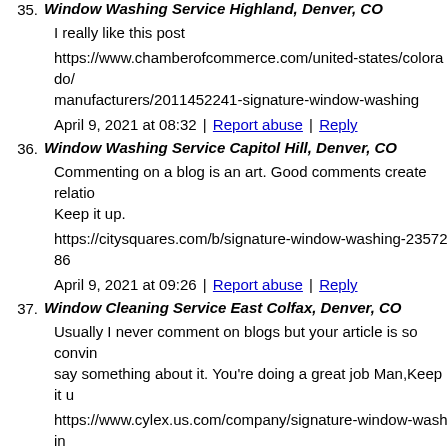35. Window Washing Service Highland, Denver, CO
I really like this post
https://www.chamberofcommerce.com/united-states/colorado/manufacturers/2011452241-signature-window-washing
April 9, 2021 at 08:32 | Report abuse | Reply
36. Window Washing Service Capitol Hill, Denver, CO
Commenting on a blog is an art. Good comments create relatio... Keep it up.
https://citysquares.com/b/signature-window-washing-2357286
April 9, 2021 at 09:26 | Report abuse | Reply
37. Window Cleaning Service East Colfax, Denver, CO
Usually I never comment on blogs but your article is so convin... say something about it. You're doing a great job Man,Keep it u...
https://www.cylex.us.com/company/signature-window-washin...
April 9, 2021 at 10:08 | Report abuse | Reply
38. Best Window Cleaning Service Near Me Southmoor Park, De...